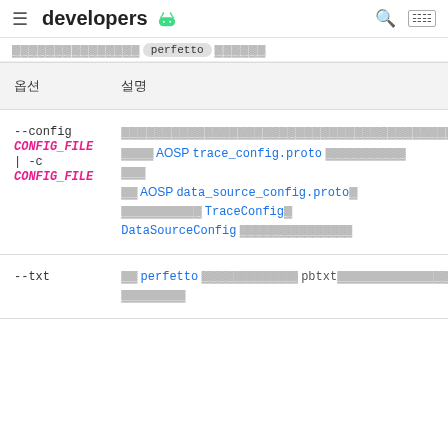≡ developers [android] 🔍 ≡
▓▓▓▓▓▓▓▓▓▓▓▓▓▓▓ perfetto ▓▓▓▓▓▓
| 옵션 | 설명 |
| --- | --- |
| --config CONFIG_FILE | -c CONFIG_FILE | ▓▓▓▓▓▓▓▓▓▓▓▓▓▓▓▓▓▓▓▓▓▓▓▓▓▓▓▓▓▓▓▓▓▓▓▓▓▓▓▓▓▓▓▓▓ 참조 AOSP trace_config.proto ▓▓▓▓▓▓▓▓▓▓ 섹션. 참조 AOSP data_source_config.proto ▓ ▓▓▓▓▓▓▓▓▓▓ TraceConfig ▓ DataSourceConfig ▓▓▓▓▓▓▓▓▓▓▓▓▓ |
| --txt | ▓▓ perfetto ▓▓▓▓▓▓▓▓▓▓▓▓ pbtxt▓▓▓▓▓▓▓▓▓▓▓▓▓▓▓▓▓▓ ▓▓▓▓▓▓▓▓ |